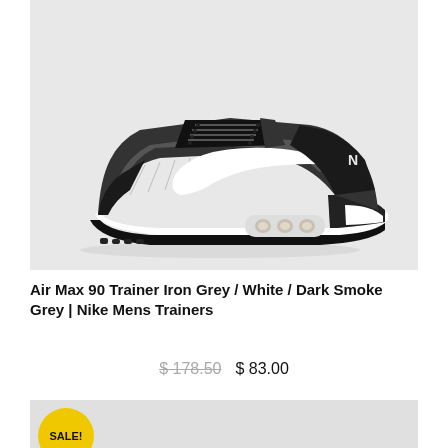[Figure (photo): Nike Air Max 90 trainer sneaker in Iron Grey, White, and Dark Smoke Grey colorway, shown in profile view on a light grey background. Black and grey mesh upper with white swoosh logo, white midsole with visible Air bubble, and black outsole.]
Air Max 90 Trainer Iron Grey / White / Dark Smoke Grey | Nike Mens Trainers
$ 178.50  $ 83.00
[Figure (photo): Partial view of another Nike trainer product listing with a yellow SALE! badge in the bottom left corner.]